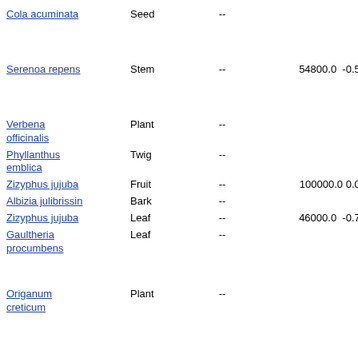| Species | Part |  |  |
| --- | --- | --- | --- |
| Cola acuminata | Seed | -- | -- |
| Serenoa repens | Stem | -- | 54800.0  -0.51 |
| Verbena officinalis | Plant | -- | -- |
| Phyllanthus emblica | Twig | -- | -- |
| Zizyphus jujuba | Fruit | -- | 100000.0  0.05 |
| Albizia julibrissin | Bark | -- | -- |
| Zizyphus jujuba | Leaf | -- | 46000.0  -0.79 |
| Gaultheria procumbens | Leaf | -- | -- |
| Origanum creticum | Plant | -- | -- |